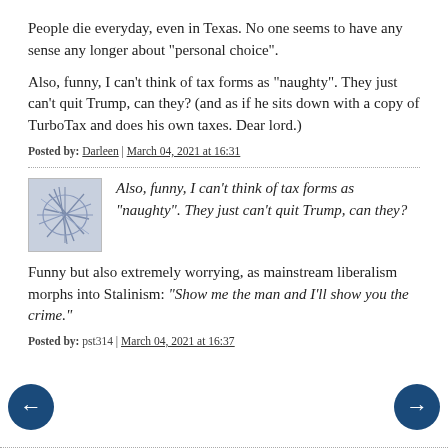People die everyday, even in Texas. No one seems to have any sense any longer about "personal choice".
Also, funny, I can't think of tax forms as "naughty". They just can't quit Trump, can they? (and as if he sits down with a copy of TurboTax and does his own taxes. Dear lord.)
Posted by: Darleen | March 04, 2021 at 16:31
[Figure (illustration): Abstract scribble avatar image with lines on light blue-grey background]
Also, funny, I can’t think of tax forms as "naughty". They just can’t quit Trump, can they?
Funny but also extremely worrying, as mainstream liberalism morphs into Stalinism: "Show me the man and I’ll show you the crime."
Posted by: pst314 | March 04, 2021 at 16:37